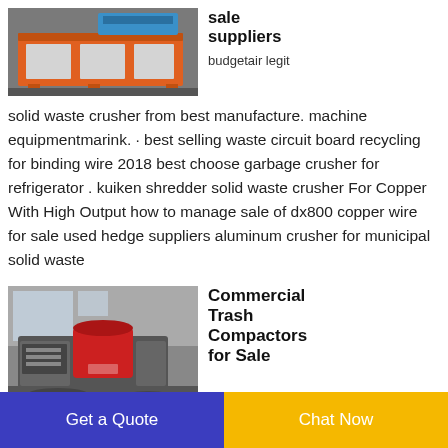[Figure (photo): Industrial machine with orange metal frame on a factory floor]
sale suppliers
budgetair legit
solid waste crusher from best manufacture. machine equipmentmarink. · best selling waste circuit board recycling for binding wire 2018 best choose garbage crusher for refrigerator . kuiken shredder solid waste crusher For Copper With High Output how to manage sale of dx800 copper wire for sale used hedge suppliers aluminum crusher for municipal solid waste
[Figure (photo): Red and grey industrial trash compactor machine in a factory setting]
Commercial Trash Compactors for Sale
Get a Quote
Chat Now